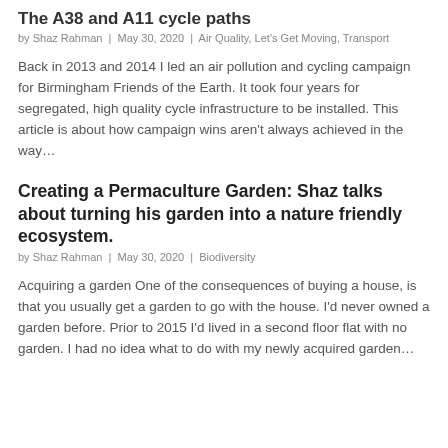The A38 and A11 cycle paths
by Shaz Rahman | May 30, 2020 | Air Quality, Let's Get Moving, Transport
Back in 2013 and 2014 I led an air pollution and cycling campaign for Birmingham Friends of the Earth. It took four years for segregated, high quality cycle infrastructure to be installed. This article is about how campaign wins aren't always achieved in the way…
Creating a Permaculture Garden: Shaz talks about turning his garden into a nature friendly ecosystem.
by Shaz Rahman | May 30, 2020 | Biodiversity
Acquiring a garden One of the consequences of buying a house, is that you usually get a garden to go with the house. I'd never owned a garden before. Prior to 2015 I'd lived in a second floor flat with no garden. I had no idea what to do with my newly acquired garden…